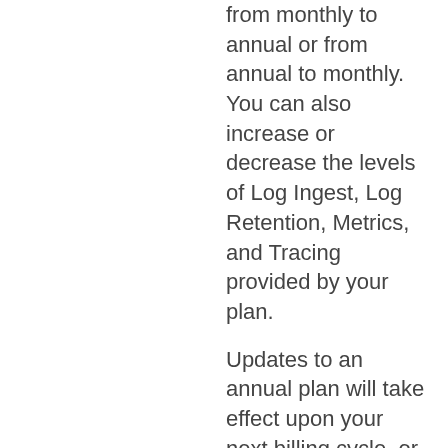from monthly to annual or from annual to monthly. You can also increase or decrease the levels of Log Ingest, Log Retention, Metrics, and Tracing provided by your plan.
Updates to an annual plan will take effect upon your next billing cycle, or when